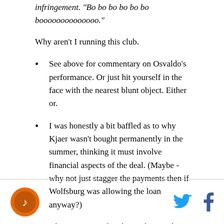infringement. "Bo bo bo bo bo bo boooooooooooooo."
Why aren't I running this club.
See above for commentary on Osvaldo's performance. Or just hit yourself in the face with the nearest blunt object. Either or.
I was honestly a bit baffled as to why Kjaer wasn't bought permanently in the summer, thinking it must involve financial aspects of the deal. (Maybe - why not just stagger the payments then if Wolfsburg was allowing the loan anyway?)
Saturday was precisely why. Kid's a stud. The end.
[logo] [twitter] [facebook]